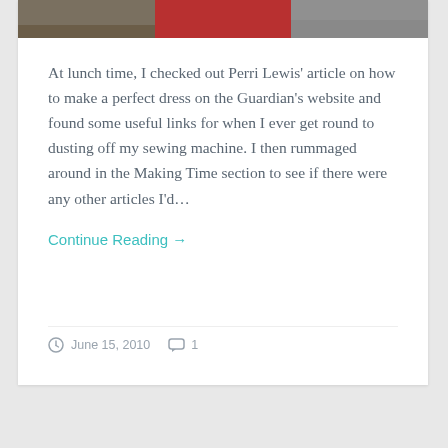[Figure (photo): Partial photo strip at top of blog card showing items on a table including what appears to be a red book or object]
At lunch time, I checked out Perri Lewis' article on how to make a perfect dress on the Guardian's website and found some useful links for when I ever get round to dusting off my sewing machine. I then rummaged around in the Making Time section to see if there were any other articles I'd…
Continue Reading →
June 15, 2010   1